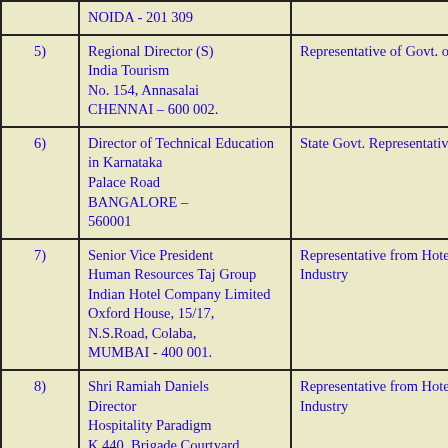|  | Address | Role |
| --- | --- | --- |
|  | NOIDA - 201 309 |  |
| 5) | Regional Director (S)
India Tourism
No. 154, Annasalai
CHENNAI – 600 002. | Representative of Govt. of India. |
| 6) | Director of Technical Education
in Karnataka
Palace Road
BANGALORE –
560001 | State Govt. Representative |
| 7) | Senior Vice President
Human Resources Taj Group
Indian Hotel Company Limited
Oxford House, 15/17,
N.S.Road, Colaba,
MUMBAI - 400 001. | Representative from Hotel Industry |
| 8) | Shri Ramiah Daniels
Director
Hospitality Paradigm
K 440, Brigade Courtyard
Jalahalli, HMT Layout
BANGALORE – 560 | Representative from Hotel Industry |